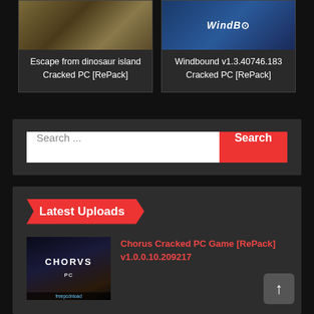[Figure (screenshot): Card showing Escape from dinosaur island Cracked PC [RePack] with a game screenshot thumbnail]
Escape from dinosaur island Cracked PC [RePack]
[Figure (screenshot): Card showing Windbound v1.3.40746.183 Cracked PC [RePack] with a game screenshot thumbnail showing WindBound logo]
Windbound v1.3.40746.183 Cracked PC [RePack]
Search ...
Search
Latest Uploads
[Figure (screenshot): Thumbnail for Chorus Cracked PC Game showing CHORVS PC game logo on dark background with freepcdnload label]
Chorus Cracked PC Game [RePack] v1.0.0.10.209217